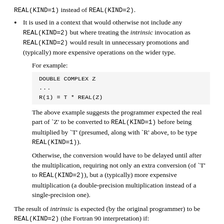REAL(KIND=1) instead of REAL(KIND=2).
It is used in a context that would otherwise not include any REAL(KIND=2) but where treating the intrinsic invocation as REAL(KIND=2) would result in unnecessary promotions and (typically) more expensive operations on the wider type.
For example:
DOUBLE COMPLEX Z
...
R(1) = T * REAL(Z)
The above example suggests the programmer expected the real part of `Z' to be converted to REAL(KIND=1) before being multiplied by `T' (presumed, along with `R' above, to be type REAL(KIND=1)).
Otherwise, the conversion would have to be delayed until after the multiplication, requiring not only an extra conversion (of `T' to REAL(KIND=2)), but a (typically) more expensive multiplication (a double-precision multiplication instead of a single-precision one).
The result of intrinsic is expected (by the original programmer) to be REAL(KIND=2) (the Fortran 90 interpretation) if: